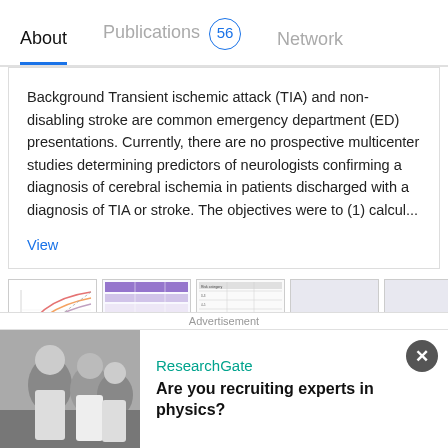About   Publications 56   Network
Background Transient ischemic attack (TIA) and non-disabling stroke are common emergency department (ED) presentations. Currently, there are no prospective multicenter studies determining predictors of neurologists confirming a diagnosis of cerebral ischemia in patients discharged with a diagnosis of TIA or stroke. The objectives were to (1) calcul...
View
[Figure (screenshot): Five thumbnail images of publication figures: a curve chart, a purple table, a data table, and two blank/grey placeholders]
Prospective validation of Canadian TIA Score and comparison with ABCD2 and ABCD2i for subsequent stroke risk after transient ischaemic attack: Multicentre
Advertisement
ResearchGate
Are you recruiting experts in physics?